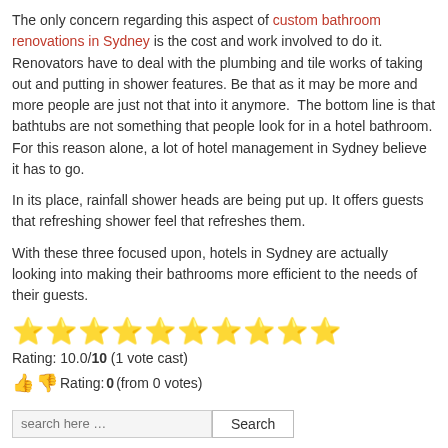The only concern regarding this aspect of custom bathroom renovations in Sydney is the cost and work involved to do it. Renovators have to deal with the plumbing and tile works of taking out and putting in shower features. Be that as it may be more and more people are just not that into it anymore.  The bottom line is that bathtubs are not something that people look for in a hotel bathroom. For this reason alone, a lot of hotel management in Sydney believe it has to go.
In its place, rainfall shower heads are being put up. It offers guests that refreshing shower feel that refreshes them.
With these three focused upon, hotels in Sydney are actually looking into making their bathrooms more efficient to the needs of their guests.
[Figure (other): 10 gold star rating icons in a row]
Rating: 10.0/10 (1 vote cast)
Rating: 0 (from 0 votes)